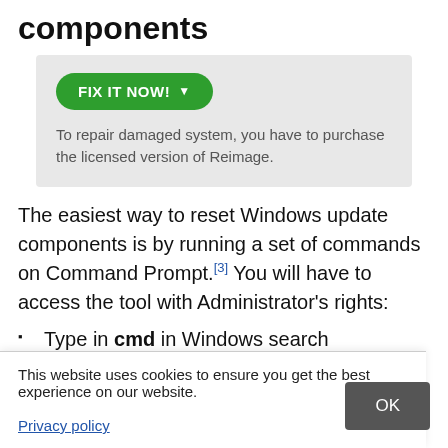components
[Figure (screenshot): A grey box containing a green 'FIX IT NOW! ▼' button and text: 'To repair damaged system, you have to purchase the licensed version of Reimage.']
The easiest way to reset Windows update components is by running a set of commands on Command Prompt.[3] You will have to access the tool with Administrator's rights:
Type in cmd in Windows search
Right-click on Command Prompt search result and select Run as administrator
e following
[Figure (screenshot): Cookie consent banner overlay: 'This website uses cookies to ensure you get the best experience on our website.' with Privacy policy link and OK button.]